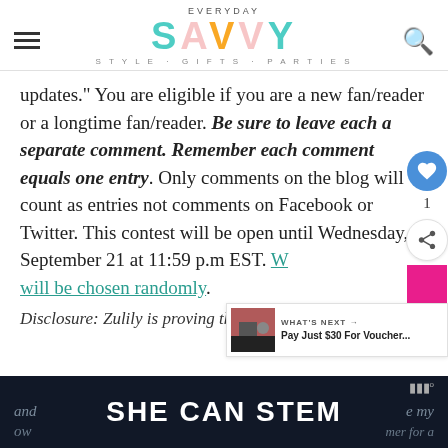EVERYDAY SAVVY STYLE · GIFTS · PARTIES
updates." You are eligible if you are a new fan/reader or a longtime fan/reader. Be sure to leave each a separate comment. Remember each comment equals one entry. Only comments on the blog will count as entries not comments on Facebook or Twitter. This contest will be open until Wednesday, September 21 at 11:59 p.m EST. Winner will be chosen randomly.
Disclosure: Zulily is proving the $25 credit to winner
SHE CAN STEM